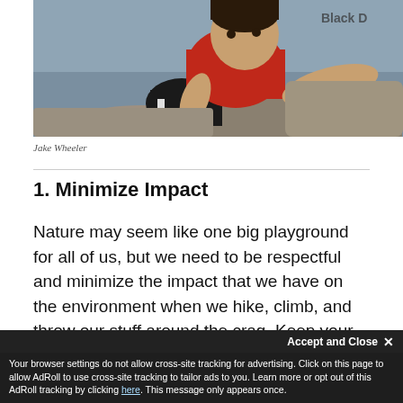[Figure (photo): A man in a red shirt bouldering on large rocks outdoors. He is reaching forward with one hand on a rock. Text 'Black D' visible in background.]
Jake Wheeler
1. Minimize Impact
Nature may seem like one big playground for all of us, but we need to be respectful and minimize the impact that we have on the environment when we hike, climb, and throw our stuff around the crag. Keep your bags, pads, and people off the sensitive vegetation
Your browser settings do not allow cross-site tracking for advertising. Click on this page to allow AdRoll to use cross-site tracking to tailor ads to you. Learn more or opt out of this AdRoll tracking by clicking here. This message only appears once.